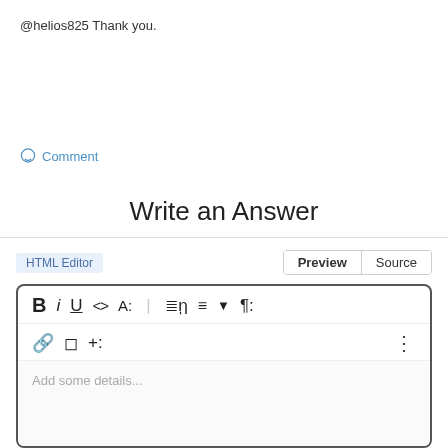@helios825 Thank you.
Comment
Write an Answer
[Figure (screenshot): HTML editor toolbar with Bold, Italic, Underline, code, font, list, paragraph controls and link, document, insert buttons, plus a text area with placeholder 'Add some details...']